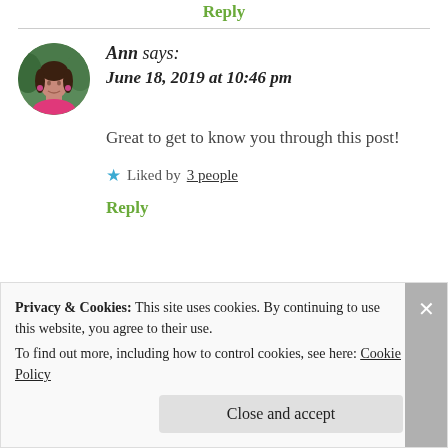Reply
Ann says:
June 18, 2019 at 10:46 pm
[Figure (photo): Circular avatar photo of a woman named Ann with dark hair, wearing a pink top, on a green background.]
Great to get to know you through this post!
★ Liked by 3 people
Reply
Privacy & Cookies: This site uses cookies. By continuing to use this website, you agree to their use.
To find out more, including how to control cookies, see here: Cookie Policy
Close and accept